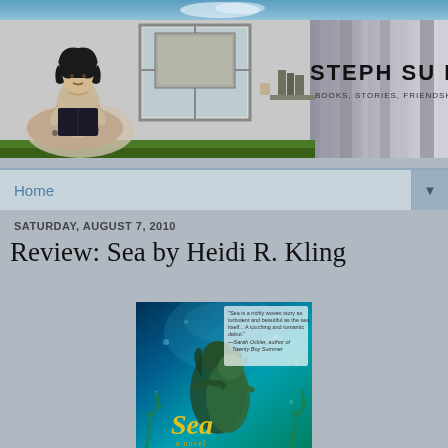[Figure (illustration): Blog header banner showing a black and white illustration of a girl reading a book, with the text 'STEPH SU READS' and subtitle 'BOOKS, STORIES, FRIENDSHIPS AND LIFELINES']
Home
SATURDAY, AUGUST 7, 2010
Review: Sea by Heidi R. Kling
[Figure (photo): Book cover of 'Sea' by Heidi R. Kling - shows two figures underwater with blue-green tones and a blurb from Sarah Ockler reading: 'Sea is a richly woven story as turbulent and beautiful as the sea itself... A touching and romantic debut.' - Sarah Ockler, author of Twenty Boy Summer]